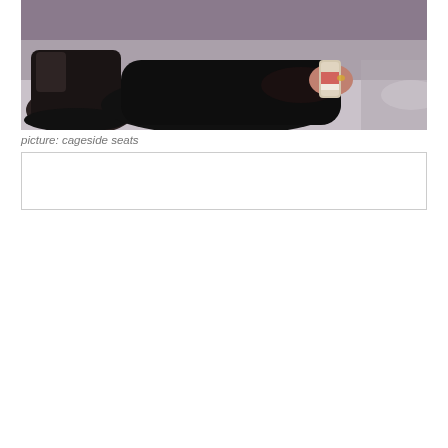[Figure (photo): A person in black clothing sitting or kneeling on a light surface, wearing dark boots, holding what appears to be a can. The image is cropped to show the lower body and hands.]
picture: cageside seats